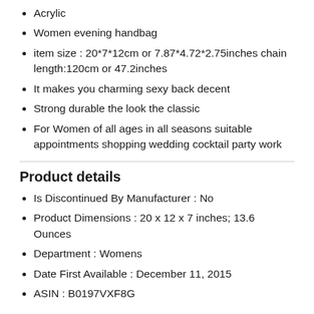Acrylic
Women evening handbag
item size : 20*7*12cm or 7.87*4.72*2.75inches chain length:120cm or 47.2inches
It makes you charming sexy back decent
Strong durable the look the classic
For Women of all ages in all seasons suitable appointments shopping wedding cocktail party work
Product details
Is Discontinued By Manufacturer : No
Product Dimensions : 20 x 12 x 7 inches; 13.6 Ounces
Department : Womens
Date First Available : December 11, 2015
ASIN : B0197VXF8G